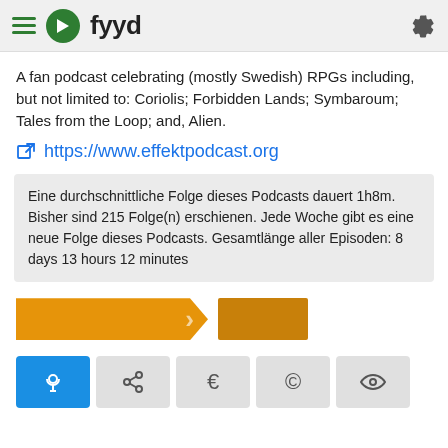fyyd
A fan podcast celebrating (mostly Swedish) RPGs including, but not limited to: Coriolis; Forbidden Lands; Symbaroum; Tales from the Loop; and, Alien.
https://www.effektpodcast.org
Eine durchschnittliche Folge dieses Podcasts dauert 1h8m. Bisher sind 215 Folge(n) erschienen. Jede Woche gibt es eine neue Folge dieses Podcasts. Gesamtlänge aller Episoden: 8 days 13 hours 12 minutes
[Figure (screenshot): Two orange buttons: a wide arrow-shape button and a smaller square button]
[Figure (screenshot): Five icon tab buttons: podcast (active/blue), share, euro, copyright, eye]